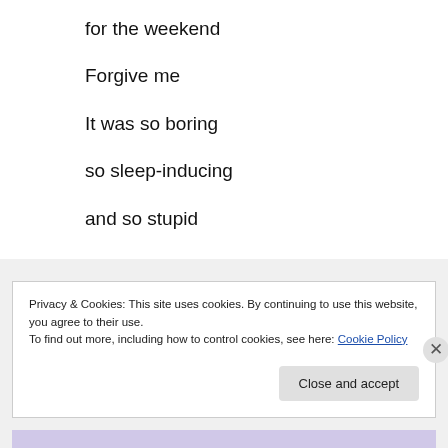for the weekend
Forgive me
It was so boring
so sleep-inducing
and so stupid
(and besides, I needed to tape Dancing with the Stars)
↩ Reply
Privacy & Cookies: This site uses cookies. By continuing to use this website, you agree to their use.
To find out more, including how to control cookies, see here: Cookie Policy
Close and accept